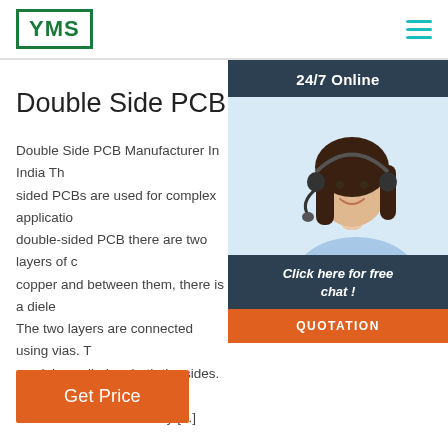[Figure (logo): YMS logo in green rectangle border with bold green text]
[Figure (illustration): Hamburger menu icon with three teal horizontal lines]
[Figure (illustration): 24/7 Online chat widget with woman wearing headset, 'Click here for free chat!' text, and orange QUOTATION button]
Double Side PCB - India Circ
Double Side PCB Manufacturer In India The sided PCBs are used for complex applicatio double-sided PCB there are two layers of c copper and between them, there is a diele The two layers are connected using vias. T mask is applied on both the sides. The double-sided PCBs are more commonly [...]
[Figure (illustration): Orange 'Get Price' button]